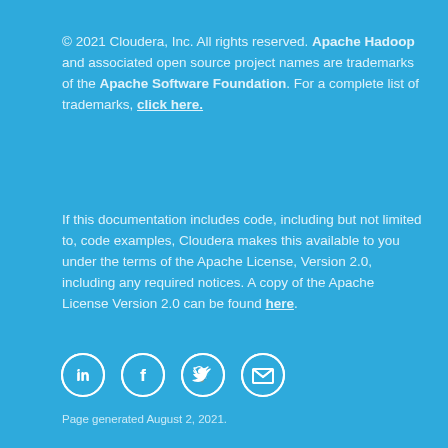© 2021 Cloudera, Inc. All rights reserved. Apache Hadoop and associated open source project names are trademarks of the Apache Software Foundation. For a complete list of trademarks, click here.
If this documentation includes code, including but not limited to, code examples, Cloudera makes this available to you under the terms of the Apache License, Version 2.0, including any required notices. A copy of the Apache License Version 2.0 can be found here.
[Figure (other): Social media icons in circles: LinkedIn, Facebook, Twitter, Email]
Terms & Conditions  |  Privacy Policy
Page generated August 2, 2021.